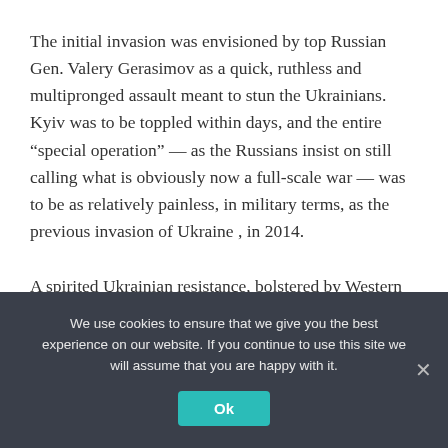The initial invasion was envisioned by top Russian Gen. Valery Gerasimov as a quick, ruthless and multipronged assault meant to stun the Ukrainians. Kyiv was to be toppled within days, and the entire “special operation” — as the Russians insist on still calling what is obviously now a full-scale war — was to be as relatively painless, in military terms, as the previous invasion of Ukraine , in 2014.
A spirited Ukrainian resistance, bolstered by Western anti-aircraft systems and other materiel, upended Gerasimov’s plan, forcing the Russians to retreat. “They
We use cookies to ensure that we give you the best experience on our website. If you continue to use this site we will assume that you are happy with it.